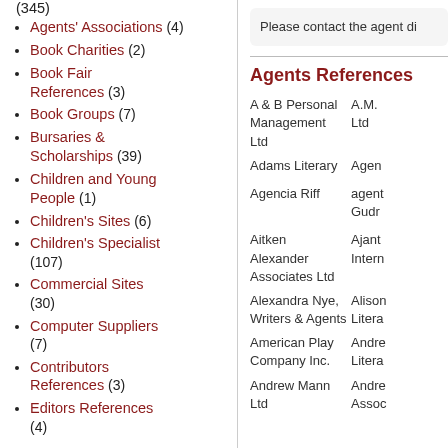(345)
Agents' Associations (4)
Book Charities (2)
Book Fair References (3)
Book Groups (7)
Bursaries & Scholarships (39)
Children and Young People (1)
Children's Sites (6)
Children's Specialist (107)
Commercial Sites (30)
Computer Suppliers (7)
Contributors References (3)
Editors References (4)
Please contact the agent di
Agents References
A & B Personal Management Ltd
A.M. Ltd
Adams Literary
Agen
Agencia Riff
agent Gudr
Aitken Alexander Associates Ltd
Ajant Intern
Alexandra Nye, Writers & Agents
Alison Litera
American Play Company Inc.
Andre Litera
Andrew Mann Ltd
Andre Assoc